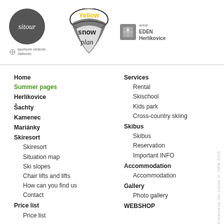[Figure (logo): Sitour logo - dark circle with white italic text 'sitour']
[Figure (logo): Sportovní centrum Jablonec small logo with icon and text]
[Figure (logo): Yellow Snow Plan logo - yellow text on dark swoosh background]
[Figure (logo): Areál EDEN Herlikovice logo with snowflake icon]
Home
Summer pages
Herlíkovice
Šachty
Kamenec
Mariánky
Skiresort
Skiresort
Situation map
Ski slopes
Chair lifts and lifts
How can you find us
Contact
Price list
Price list
Services
Rental
Skischool
Kids park
Cross-country skiing
Skibus
Skibus
Reservation
Important INFO
Accommodation
Accommodation
Gallery
Photo gallery
WEBSHOP
Created by Jan Loose © 2008-2015